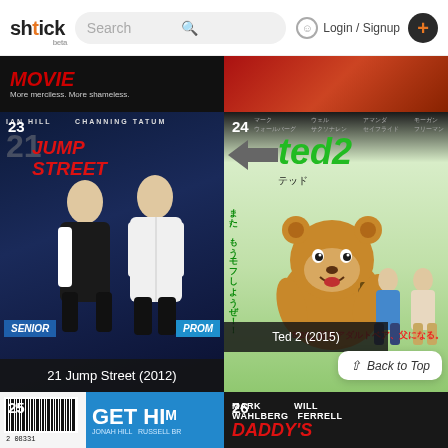shtick beta | Search | Login / Signup
[Figure (screenshot): Partial movie banner at top left, dark background with red text 'MORE' and subtitle 'More merciless. More shameless.']
[Figure (screenshot): Partial movie banner at top right, red/dark gradient background]
[Figure (screenshot): Movie poster #23: 21 Jump Street (2012), dark blue background, Jonah Hill and Channing Tatum in tuxedos at senior prom]
21 Jump Street (2012)
[Figure (screenshot): Movie poster #24: Ted 2 (2015), green title on light background with Ted bear holding bottle, Japanese text]
Ted 2 (2015)
[Figure (screenshot): Movie poster #25: Get Hard, blue and white design with barcode, Jonah Hill and Russell Brand credits]
[Figure (screenshot): Movie poster #26: Daddy's Home, dark background, Mark Wahlberg and Will Ferrell credits, red title]